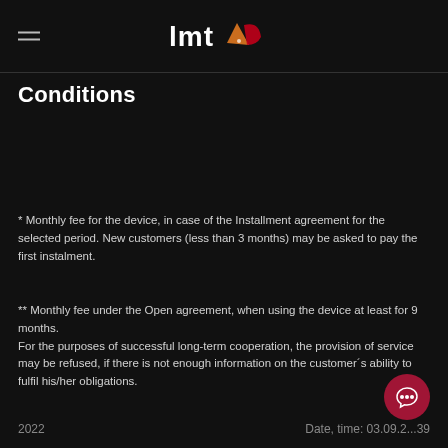lmt
Conditions
* Monthly fee for the device, in case of the Installment agreement for the selected period. New customers (less than 3 months) may be asked to pay the first instalment.
** Monthly fee under the Open agreement, when using the device at least for 9 months.
For the purposes of successful long-term cooperation, the provision of service may be refused, if there is not enough information on the customer´s ability to fulfil his/her obligations.
2022   Date, time: 03.09.2...39